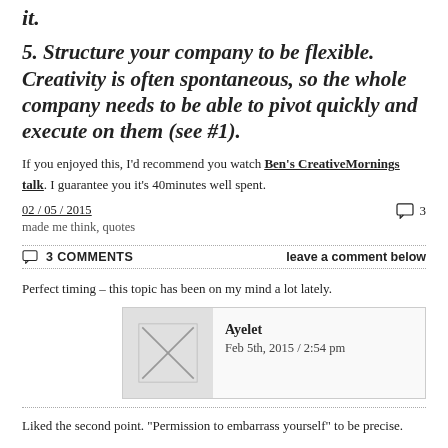it.
5. Structure your company to be flexible. Creativity is often spontaneous, so the whole company needs to be able to pivot quickly and execute on them (see #1).
If you enjoyed this, I'd recommend you watch Ben's CreativeMornings talk. I guarantee you it's 40minutes well spent.
02 / 05 / 2015   ☐ 3
made me think, quotes
3 COMMENTS   leave a comment below
Perfect timing – this topic has been on my mind a lot lately.
Ayelet
Feb 5th, 2015 / 2:54 pm
Liked the second point. "Permission to embarrass yourself" to be precise.